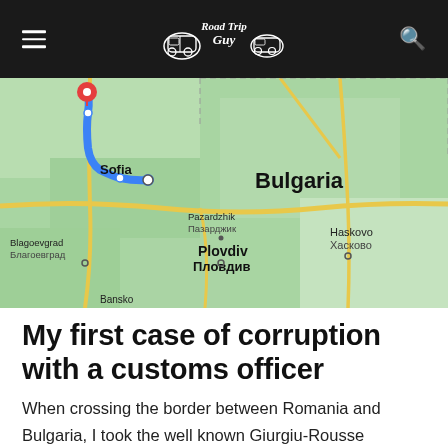Road Trip Guy
[Figure (map): Google Maps view of Bulgaria showing Sofia with a red pin and blue route line heading northeast, plus cities: Blagoevgrad/Благоевград, Pazardzhik/Пазарджик, Plovdiv/Пловдив, Haskovo/Хасково, Bansko]
My first case of corruption with a customs officer
When crossing the border between Romania and Bulgaria, I took the well known Giurgiu-Rousse Friendship Bridge. This bridge connects the